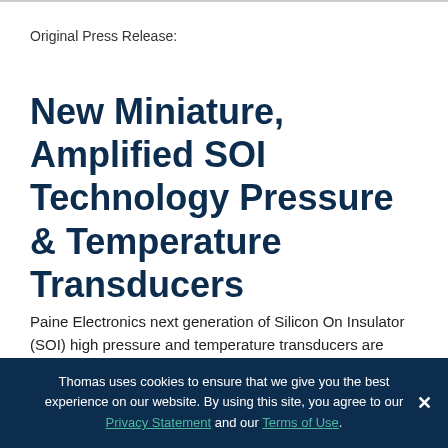Original Press Release:
New Miniature, Amplified SOI Technology Pressure & Temperature Transducers
Paine Electronics next generation of Silicon On Insulator (SOI) high pressure and temperature transducers are specifically designed for high reliability, accuracy and long term stability
Thomas uses cookies to ensure that we give you the best experience on our website. By using this site, you agree to our Privacy Statement and our Terms of Use.